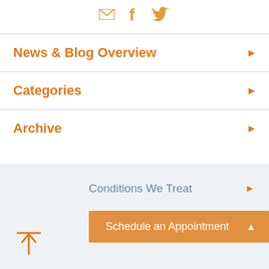[Figure (infographic): Social media icons: email envelope, Facebook f, Twitter bird, in orange/amber color]
News & Blog Overview
Categories
Archive
Conditions We Treat
Schedule an Appointment